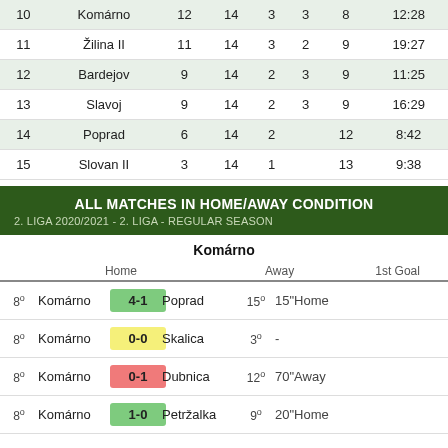| # | Team | Pts | GP | W | D | L | Score |
| --- | --- | --- | --- | --- | --- | --- | --- |
| 10 | Komárno | 12 | 14 | 3 | 3 | 8 | 12:28 |
| 11 | Žilina II | 11 | 14 | 3 | 2 | 9 | 19:27 |
| 12 | Bardejov | 9 | 14 | 2 | 3 | 9 | 11:25 |
| 13 | Slavoj | 9 | 14 | 2 | 3 | 9 | 16:29 |
| 14 | Poprad | 6 | 14 | 2 |  | 12 | 8:42 |
| 15 | Slovan II | 3 | 14 | 1 |  | 13 | 9:38 |
ALL MATCHES IN HOME/AWAY CONDITION
2. LIGA 2020/2021 - 2. LIGA - REGULAR SEASON
Komárno
|  | Home | Score | Away |  | 1st Goal |
| --- | --- | --- | --- | --- | --- |
| 8º | Komárno | 4-1 | Poprad | 15º | 15"Home |
| 8º | Komárno | 0-0 | Skalica | 3º | - |
| 8º | Komárno | 0-1 | Dubnica | 12º | 70"Away |
| 8º | Komárno | 1-0 | Petržalka | 9º | 20"Home |